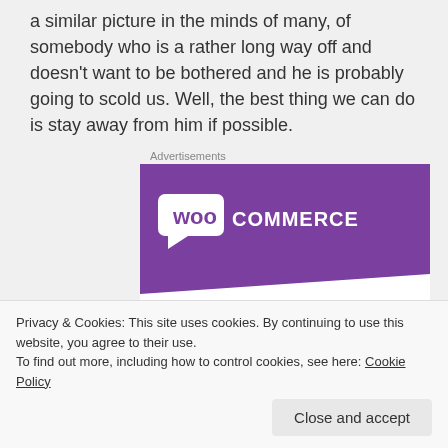a similar picture in the minds of many, of somebody who is a rather long way off and doesn't want to be bothered and he is probably going to scold us. Well, the best thing we can do is stay away from him if possible.
Advertisements
[Figure (illustration): WooCommerce advertisement banner with purple background showing WooCommerce logo (woo in white speech bubble + COMMERCE text), teal triangle shape bottom-left, blue shape bottom-right, and text 'How to start selling subscriptions online']
Privacy & Cookies: This site uses cookies. By continuing to use this website, you agree to their use.
To find out more, including how to control cookies, see here: Cookie Policy
Close and accept